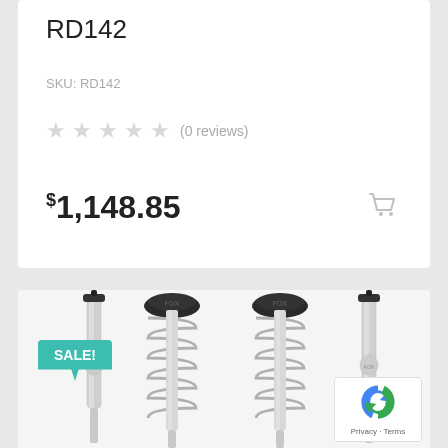RD142
SKU: RD142
★★★★★ (0 reviews)
$1,148.85
[Figure (photo): Four Fox shock absorbers/coilovers displayed vertically. Two outer shocks are slim monotube shocks and two inner are coilover spring shocks with black Fox branded spring perches. A teal SALE! badge is shown in the upper left corner of the product image.]